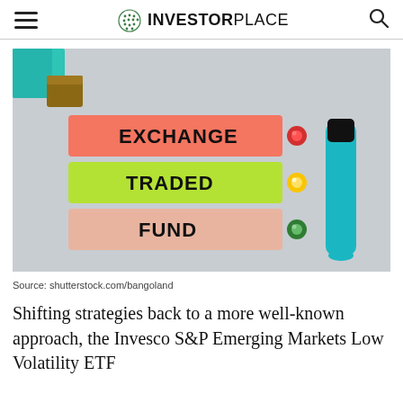INVESTORPLACE
[Figure (photo): Photo of three sticky note strips labeled EXCHANGE (orange/pink), TRADED (green/yellow), and FUND (pink/peach), with colorful push-pins and a teal marker pen on a gray surface.]
Source: shutterstock.com/bangoland
Shifting strategies back to a more well-known approach, the Invesco S&P Emerging Markets Low Volatility ETF